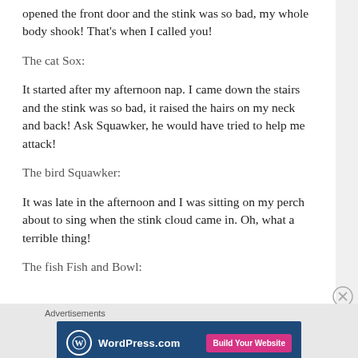opened the front door and the stink was so bad, my whole body shook! That's when I called you!
The cat Sox:
It started after my afternoon nap. I came down the stairs and the stink was so bad, it raised the hairs on my neck and back! Ask Squawker, he would have tried to help me attack!
The bird Squawker:
It was late in the afternoon and I was sitting on my perch about to sing when the stink cloud came in. Oh, what a terrible thing!
The fish Fish and Bowl:
Advertisements
[Figure (screenshot): WordPress.com advertisement banner with blue background, WordPress logo on the left, and a pink 'Build Your Website' button on the right.]